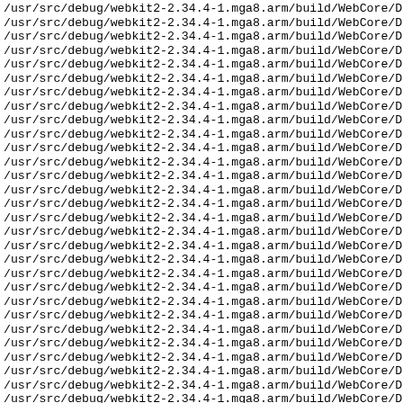/usr/src/debug/webkit2-2.34.4-1.mga8.arm/build/WebCore/De (repeated ~29 times)